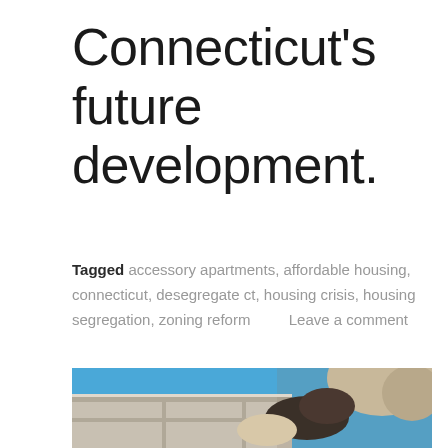Connecticut's future development.
Tagged accessory apartments, affordable housing, connecticut, desegregate ct, housing crisis, housing segregation, zoning reform      Leave a comment
[Figure (photo): A construction worker wearing gloves laying concrete blocks against a blue sky.]